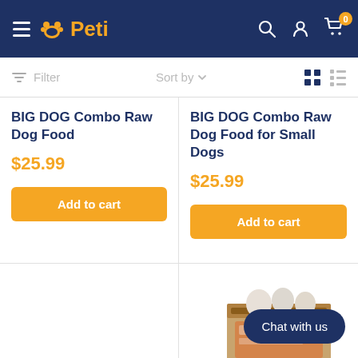Peti - pet store navigation header
Filter  Sort by
BIG DOG Combo Raw Dog Food
$25.99
BIG DOG Combo Raw Dog Food for Small Dogs
$25.99
Add to cart
Add to cart
[Figure (photo): Product image of BIG DOG raw food box partially visible in lower right cell]
Chat with us